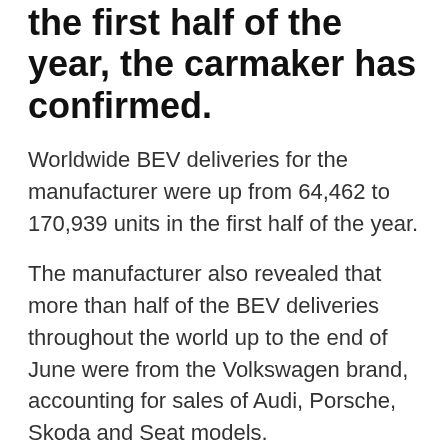the first half of the year, the carmaker has confirmed.
Worldwide BEV deliveries for the manufacturer were up from 64,462 to 170,939 units in the first half of the year.
The manufacturer also revealed that more than half of the BEV deliveries throughout the world up to the end of June were from the Volkswagen brand, accounting for sales of Audi, Porsche, Skoda and Seat models.
The Group's most popular model for the first half of the year was the Volkswagen ID.4 which sold 37,292 units. That number can be expected to rise with the release of the VW ID.4 GTX model, which will launch in the UK towards the end of the year.